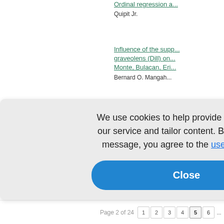Ordinal regression a... Quipit Jr.
Influence of the sup... graveolens (Dill) on... Monte, Bulacan, Eri... Bernard O. Mangah...
Multilevel modeling...
Biosurveillance of m...
On bisupermodular...
Synthesis of cobalt... ntative volati...
...n and screen... against mult...
We use cookies to help provide and enhance our service and tailor content. By closing this message, you agree to the use of cookies.
Close
Page 2 of 24  1 2 3 4 5 6 ...